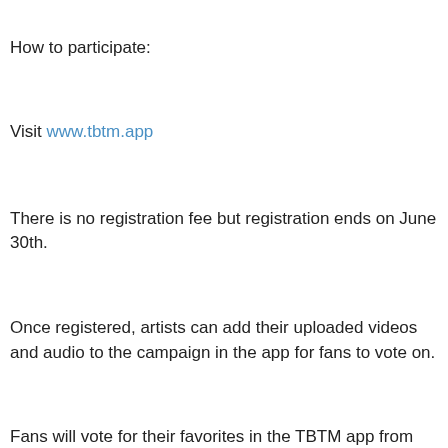How to participate:
Visit www.tbtm.app
There is no registration fee but registration ends on June 30th.
Once registered, artists can add their uploaded videos and audio to the campaign in the app for fans to vote on.
Fans will vote for their favorites in the TBTM app from July 1st - 10th.